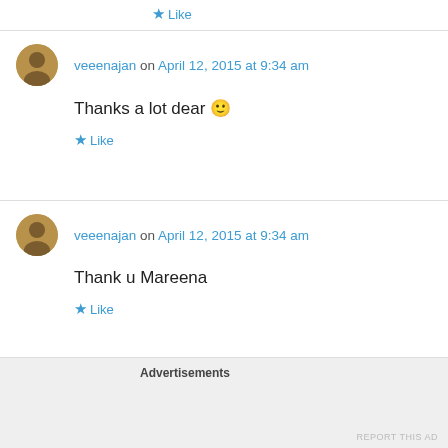★ Like
veeenajan on April 12, 2015 at 9:34 am
Thanks a lot dear 🙂
★ Like
veeenajan on April 12, 2015 at 9:34 am
Thank u Mareena
★ Like
Advertisements
REPORT THIS AD